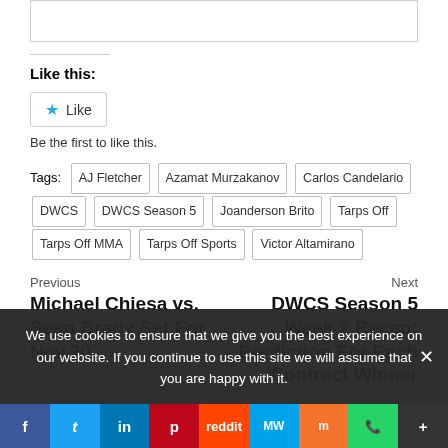[Figure (screenshot): Empty white input/comment box at top]
Like this:
[Figure (screenshot): Like button with star icon]
Be the first to like this.
Tags: AJ Fletcher  Azamat Murzakanov  Carlos Candelario  DWCS  DWCS Season 5  Joanderson Brito  Tarps Off  Tarps Off MMA  Tarps Off Sports  Victor Altamirano
Previous
Michael Chiesa vs. Sean Brady Set For Nov.20
Next
DWCS Season 5 Week 2 Recap: Prediction For Each Contract Winner
We use cookies to ensure that we give you the best experience on our website. If you continue to use this site we will assume that you are happy with it.
[Figure (screenshot): Social sharing bar with Facebook, Twitter, LinkedIn, Pinterest, Reddit, MeWe, Mix, WhatsApp, More buttons]